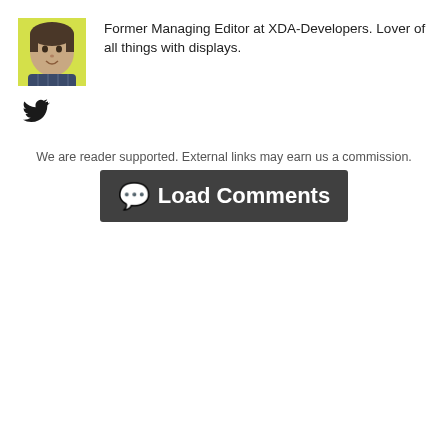[Figure (photo): Author headshot photo with yellow background]
Former Managing Editor at XDA-Developers. Lover of all things with displays.
[Figure (other): Twitter bird icon]
We are reader supported. External links may earn us a commission.
Load Comments